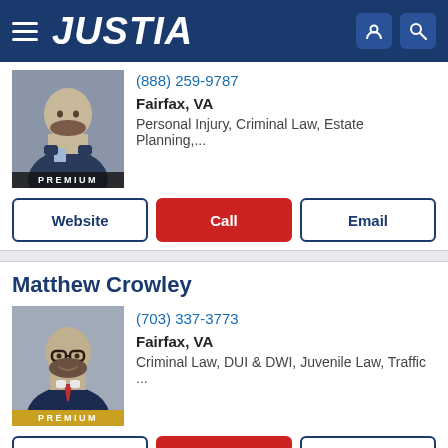JUSTIA
(888) 259-9787
Fairfax, VA
Personal Injury, Criminal Law, Estate Planning,...
Website | Call | Email
Matthew Crowley
(703) 337-3773
Fairfax, VA
Criminal Law, DUI & DWI, Juvenile Law, Traffic ...
Website | Call | Email
David Lloyd